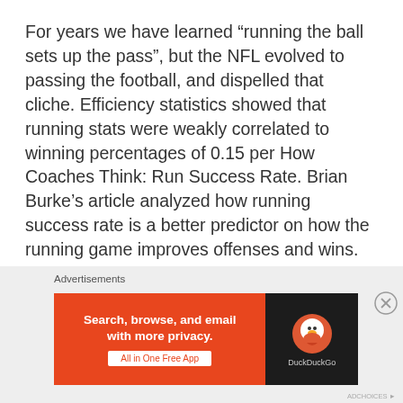For years we have learned “running the ball sets up the pass”, but the NFL evolved to passing the football, and dispelled that cliche. Efficiency statistics showed that running stats were weakly correlated to winning percentages of 0.15 per How Coaches Think: Run Success Rate. Brian Burke’s article analyzed how running success rate is a better predictor on how the running game improves offenses and wins. He also outlines that efficiency statistics are a poor indicator because they only prove a basic concept; a poor rushing attack does not help move the ball effectively. Duh,
[Figure (screenshot): DuckDuckGo advertisement banner with orange left panel reading 'Search, browse, and email with more privacy. All in One Free App' and dark right panel with DuckDuckGo logo.]